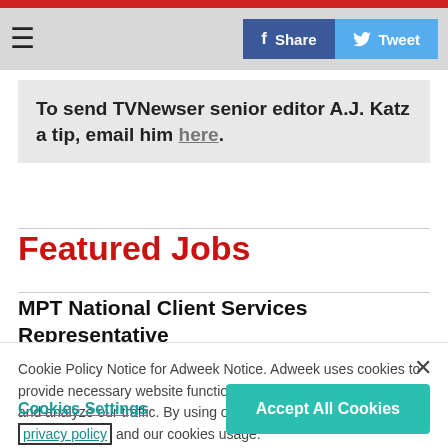To send TVNewser senior editor A.J. Katz a tip, email him here.
Featured Jobs
MPT National Client Services Representative
Cookie Policy Notice for Adweek Notice. Adweek uses cookies to provide necessary website functionality, improve your experience, and analyze our traffic. By using our website, you agree to our privacy policy and our cookies usage.
Cookies Settings
Accept All Cookies